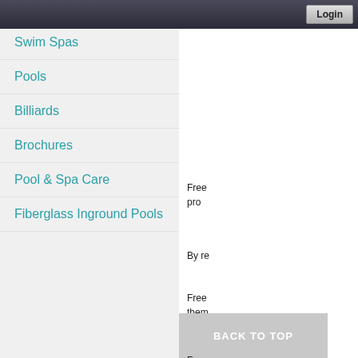Login
Swim Spas
Pools
Billiards
Brochures
Pool & Spa Care
Fiberglass Inground Pools
Free... pro...
By re...
Free... them...
Free... cond... ho...
BACK TO TOP